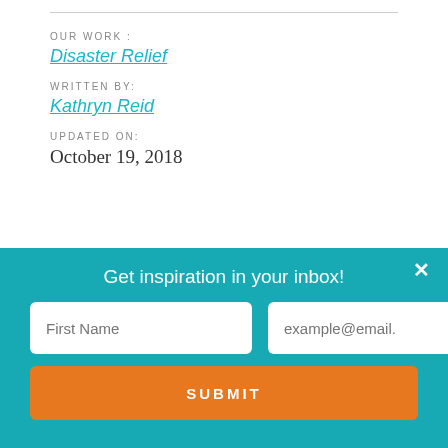OUR WORK :
Disaster Relief
WRITTEN BY:
Kathryn Reid
UPDATED ON:
October 19, 2018
Get inspiration in your inbox!
First Name
example@email.
SUBMIT